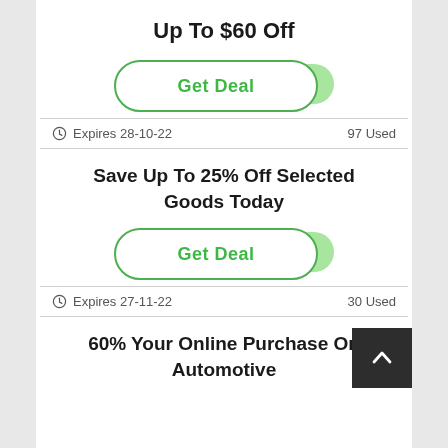Up To $60 Off
Get Deal
Expires 28-10-22   97 Used
Save Up To 25% Off Selected Goods Today
Get Deal
Expires 27-11-22   30 Used
60% Your Online Purchase On Automotive